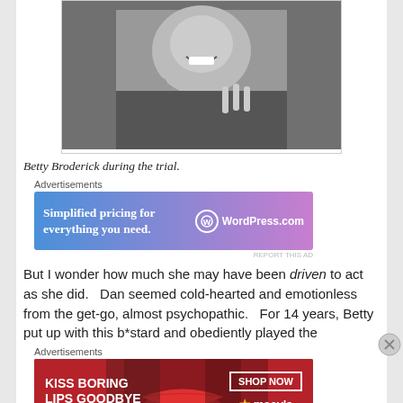[Figure (photo): Black and white photograph of Betty Broderick during the trial, showing a woman smiling with hands visible and a microphone nearby.]
Betty Broderick during the trial.
[Figure (other): Advertisement: WordPress.com - Simplified pricing for everything you need.]
But I wonder how much she may have been driven to act as she did.   Dan seemed cold-hearted and emotionless from the get-go, almost psychopathic.   For 14 years, Betty put up with this b*stard and obediently played the
[Figure (other): Advertisement: Macy's - KISS BORING LIPS GOODBYE - SHOP NOW]